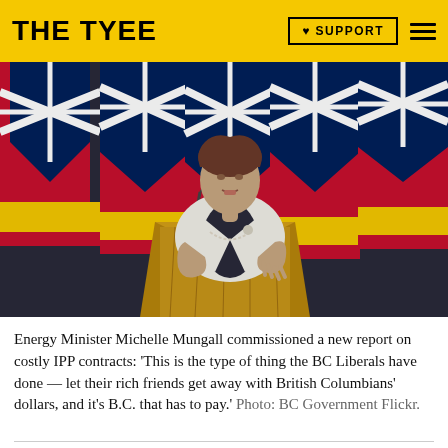THE TYEE
[Figure (photo): Energy Minister Michelle Mungall speaking at a podium with BC Government flags in the background. She is wearing a white blazer and gesturing with her hand.]
Energy Minister Michelle Mungall commissioned a new report on costly IPP contracts: ‘This is the type of thing the BC Liberals have done — let their rich friends get away with British Columbians’ dollars, and it’s B.C. that has to pay.’ Photo: BC Government Flickr.